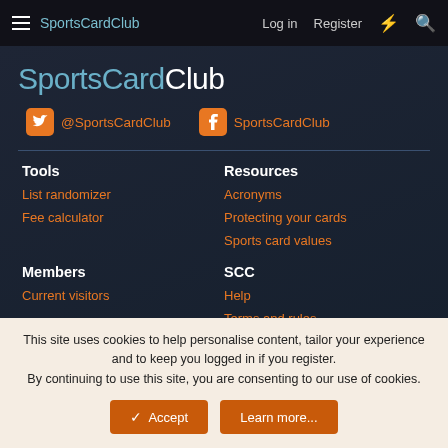SportsCardClub   Log in   Register
SportsCardClub
@SportsCardClub   SportsCardClub
Tools
List randomizer
Fee calculator
Resources
Acronyms
Protecting your cards
Sports card values
Members
Current visitors
SCC
Help
Terms and rules
This site uses cookies to help personalise content, tailor your experience and to keep you logged in if you register. By continuing to use this site, you are consenting to our use of cookies.